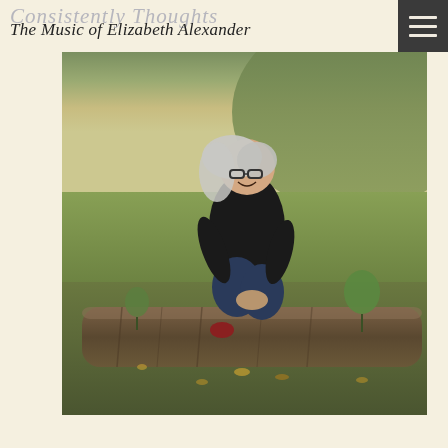Consistently Thoughts / The Music of Elizabeth Alexander
[Figure (photo): A woman with long gray hair and glasses, wearing a black top and jeans, sitting on a fallen log in a green field, laughing and looking upward. Background shows a grassy hillside with autumn leaves.]